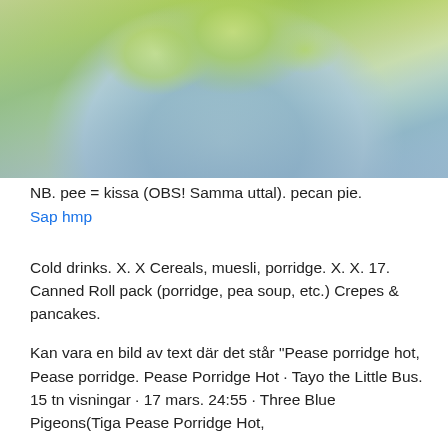[Figure (photo): Close-up photo of green leaves against a blurred background of bare tree branches with a light blue-grey sky.]
NB. pee = kissa (OBS! Samma uttal). pecan pie.
Sap hmp
Cold drinks. X. X Cereals, muesli, porridge. X. X. 17. Canned Roll pack (porridge, pea soup, etc.) Crepes & pancakes.
Kan vara en bild av text där det står "Pease porridge hot, Pease porridge. Pease Porridge Hot · Tayo the Little Bus. 15 tn visningar · 17 mars. 24:55 · Three Blue Pigeons(Tiga Pease Porridge Hot,